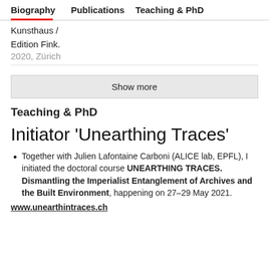Biography   Publications   Teaching & PhD
Kunsthaus /
Edition Fink.
2020, Zürich
Show more
Teaching & PhD
Initiator 'Unearthing Traces'
Together with Julien Lafontaine Carboni (ALICE lab, EPFL), I initiated the doctoral course UNEARTHING TRACES. Dismantling the Imperialist Entanglement of Archives and the Built Environment, happening on 27–29 May 2021.
www.unearthintraces.ch